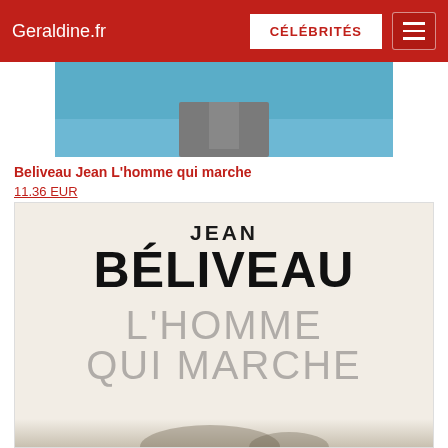Geraldine.fr — CÉLÉBRITÉS
[Figure (photo): Top partial photo showing a person against a blue background, cropped]
Beliveau Jean L'homme qui marche
11.36 EUR
[Figure (photo): Book cover of 'L'Homme Qui Marche' by Jean Béliveau showing the author name and title text on a light beige background with a silhouette at the bottom]